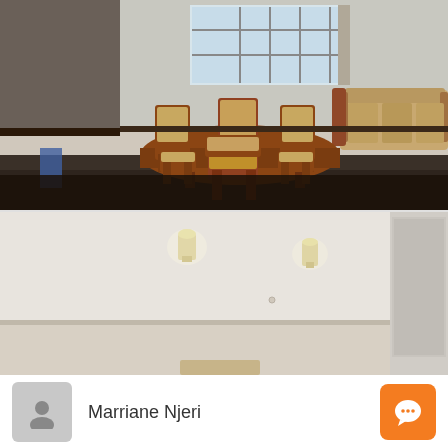[Figure (photo): Interior photo of a living/dining room with a wooden dining table and chairs in the foreground, a sofa set in the background, and a window with natural light. Dark tiled floor in the foreground, lighter floor in the background.]
[Figure (photo): Interior photo of an empty room with white walls, two wall-mounted light fixtures, and a doorway on the right side.]
Marriane Njeri